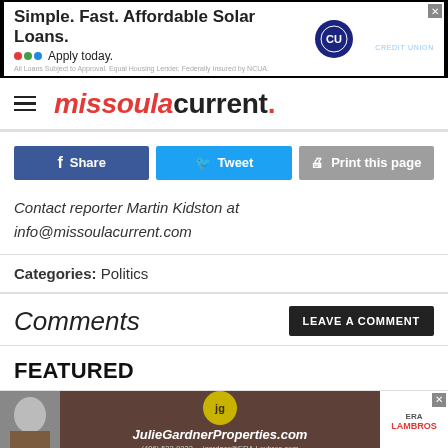[Figure (other): Clearwater Credit Union advertisement banner: Simple. Fast. Affordable Solar Loans. Apply today.]
missoula current.
Share | Tweet | Print this page
Contact reporter Martin Kidston at info@missoulacurrent.com
Categories: Politics
Comments
FEATURED
[Figure (other): JulieGardnerProperties.com ERA Lambros advertisement banner]